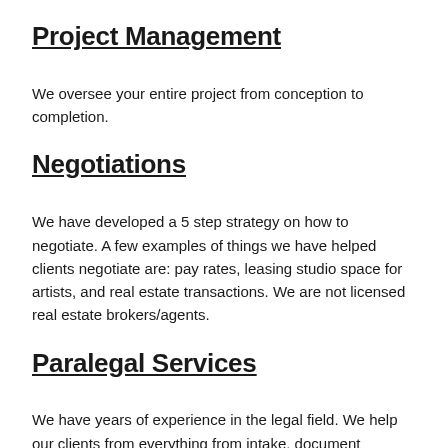Project Management
We oversee your entire project from conception to completion.
Negotiations
We have developed a 5 step strategy on how to negotiate. A few examples of things we have helped clients negotiate are: pay rates, leasing studio space for artists, and real estate transactions. We are not licensed real estate brokers/agents.
Paralegal Services
We have years of experience in the legal field. We help our clients from everything from intake, document preparation, all the way to trial preparation. We also handle operations and marketing.